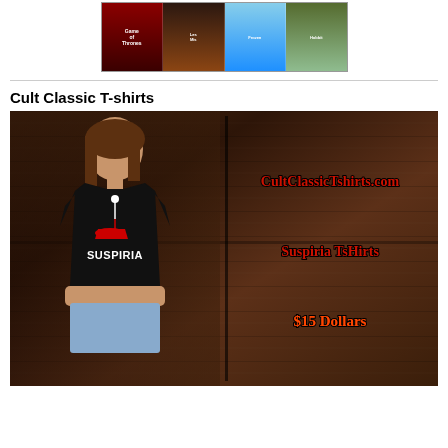[Figure (photo): Blu-ray movie collection showing Game of Thrones, Les Misérables, and The Hobbit box sets arranged together]
Cult Classic T-shirts
[Figure (photo): Advertisement image showing a woman wearing a black Suspiria t-shirt against a wooden door background. Text on right reads: CultClassicTshirts.com, Suspiria TsHirts, $15 Dollars]